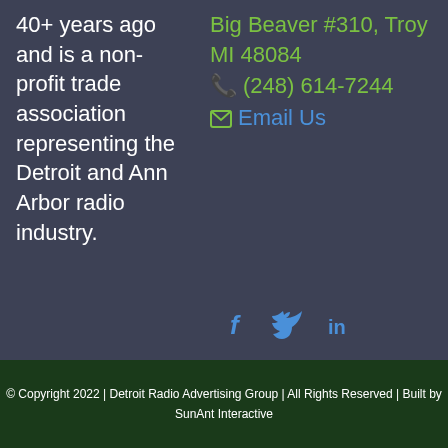40+ years ago and is a non-profit trade association representing the Detroit and Ann Arbor radio industry.
Big Beaver #310, Troy MI 48084
(248) 614-7244
Email Us
[Figure (infographic): Social media icons: Facebook (f), Twitter (bird), LinkedIn (in) in blue]
© Copyright 2022 | Detroit Radio Advertising Group | All Rights Reserved | Built by SunAnt Interactive